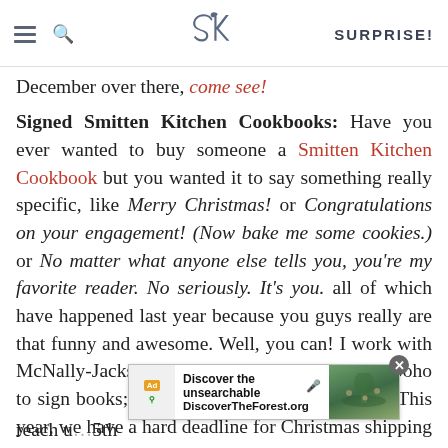SK SURPRISE!
December over there, come see!
Signed Smitten Kitchen Cookbooks: Have you ever wanted to buy someone a Smitten Kitchen Cookbook but you wanted it to say something really specific, like Merry Christmas! or Congratulations on your engagement! (Now bake me some cookies.) or No matter what anyone else tells you, you're my favorite reader. No seriously. It's you. all of which have happened last year because you guys really are that funny and awesome. Well, you can! I work with McNally-Jackson, an independent bookstore in Soho to sign books; I sign them, they mail them out. This year, we have a hard deadline for Christmas shipping (i.e. you'd pay sta...ook will reach u...5th
[Figure (screenshot): Ad banner for DiscoverTheForest.org: 'Discover the unsearchable' with forest photo and people hiking]